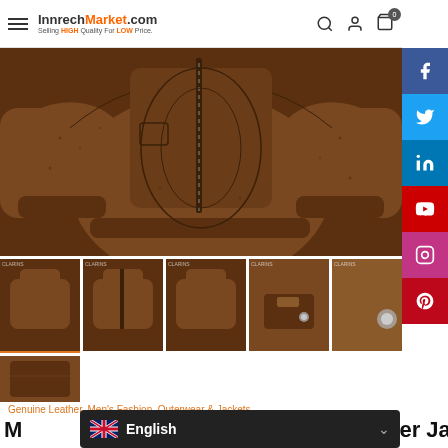InnrechMarket.com – Selling HIGH Quality For LOW Price.
[Figure (photo): Main product photo: brown genuine leather jacket, moto/bomber style, shown from front with sleeves out, dark brown distressed texture, zipper visible]
[Figure (photo): Thumbnail 1: full jacket front view with lapels]
[Figure (photo): Thumbnail 2: full jacket front view zipped]
[Figure (photo): Thumbnail 3: jacket back view]
[Figure (photo): Thumbnail 4: close-up of jacket zipper pocket detail]
[Figure (photo): Thumbnail 5: close-up of jacket cuff/button detail]
[Figure (photo): Thumbnail 6 (second row): close-up of jacket shoulder/texture]
Genuine Leather, Men's Fashion, Outerwear & Jackets
M al Leather Jacket